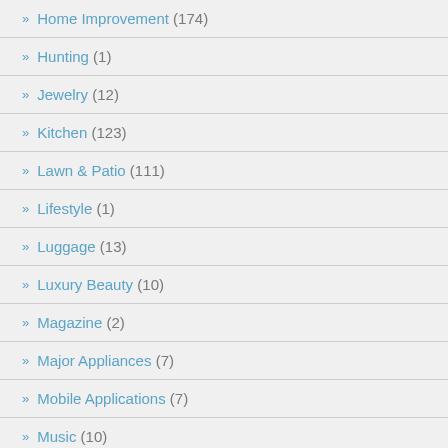Home Improvement (174)
Hunting (1)
Jewelry (12)
Kitchen (123)
Lawn & Patio (111)
Lifestyle (1)
Luggage (13)
Luxury Beauty (10)
Magazine (2)
Major Appliances (7)
Mobile Applications (7)
Music (10)
Musical Instruments (...)